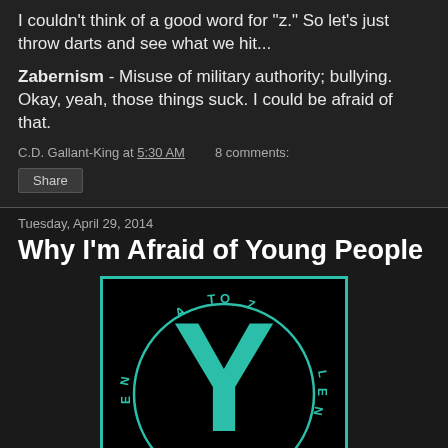I couldn't think of a good word for "z." So let's just throw darts and see what we hit...
Zabernism - Misuse of military authority; bullying. Okay, yeah, those things suck. I could be afraid of that.
C.D. Gallant-King at 5:30 AM    8 comments:
Share
Tuesday, April 29, 2014
Why I'm Afraid of Young People
[Figure (logo): A teal/turquoise letter Y on a black background inside a teal border rectangle, with the text 'A TO Z CHALLENGE 2014' arranged in a circular badge design around/behind the Y, in teal and dark colors.]